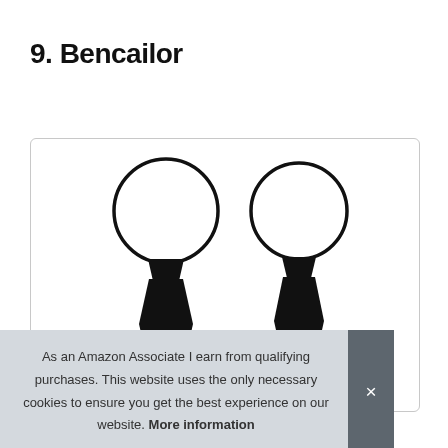9. Bencailor
[Figure (photo): Two black zipper/clip-on neckties displayed side by side with circular neck loops visible at the top, shown on a white background inside a rounded rectangle border.]
As an Amazon Associate I earn from qualifying purchases. This website uses the only necessary cookies to ensure you get the best experience on our website. More information